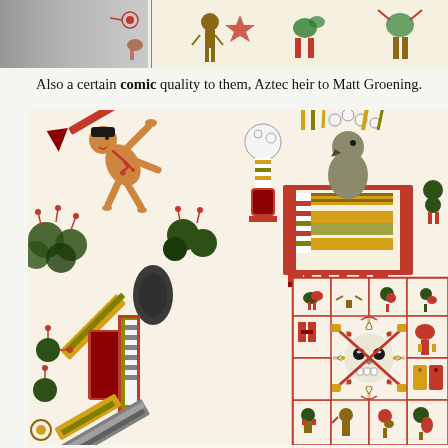[Figure (illustration): Top strip showing Aztec codex illustrations with colorful glyphs and figures on a cream/white background, partially cropped at top of page]
Also a certain comic quality to them, Aztec heir to Matt Groening.
[Figure (illustration): Large Aztec codex manuscript page showing colorful pre-Columbian illustrations including a falling human figure being attacked, a seated deity on an elaborate throne, various smaller glyphs in a grid with red borders, a skull-like sun figure, and various Aztec iconographic elements in red, brown, gold, and green colors]